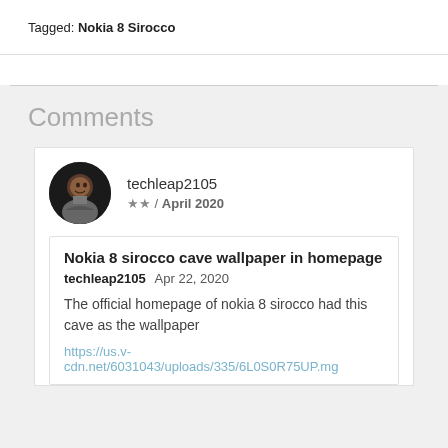Tagged: Nokia 8 Sirocco
Comments
techleap2105 ★★ / April 2020
Nokia 8 sirocco cave wallpaper in homepage
techleap2105  Apr 22, 2020
The official homepage of nokia 8 sirocco had this cave as the wallpaper
https://us.v-cdn.net/6031043/uploads/335/6L0S0R75UP.mg